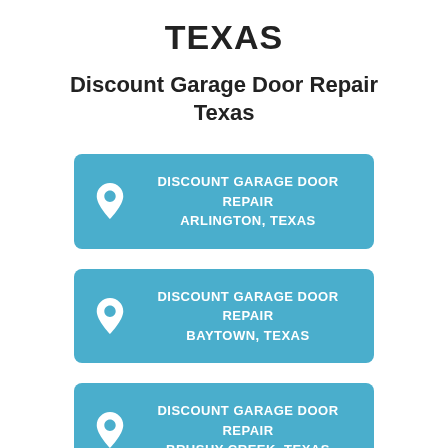TEXAS
Discount Garage Door Repair Texas
DISCOUNT GARAGE DOOR REPAIR ARLINGTON, TEXAS
DISCOUNT GARAGE DOOR REPAIR BAYTOWN, TEXAS
DISCOUNT GARAGE DOOR REPAIR BRUSHY CREEK, TEXAS
DISCOUNT GARAGE DOOR REPAIR